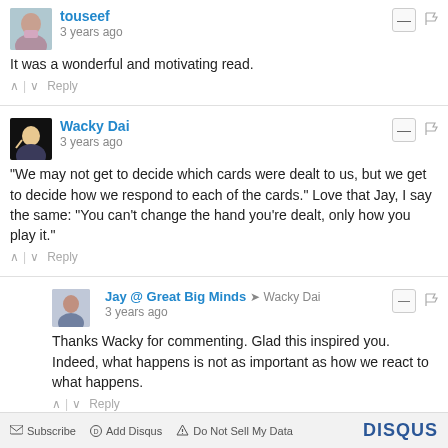touseef
3 years ago
It was a wonderful and motivating read.
Wacky Dai
3 years ago
"We may not get to decide which cards were dealt to us, but we get to decide how we respond to each of the cards." Love that Jay, I say the same: "You can't change the hand you're dealt, only how you play it."
Jay @ Great Big Minds → Wacky Dai
3 years ago
Thanks Wacky for commenting. Glad this inspired you. Indeed, what happens is not as important as how we react to what happens.
Subscribe  Add Disqus  Do Not Sell My Data  DISQUS